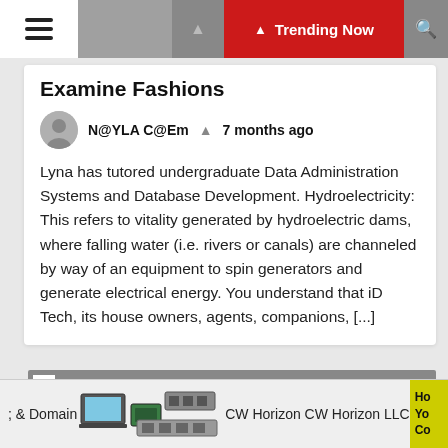Trending Now
Examine Fashions
N@YLA C@Em  ❧ 7 months ago
Lyna has tutored undergraduate Data Administration Systems and Database Development. Hydroelectricity: This refers to vitality generated by hydroelectric dams, where falling water (i.e. rivers or canals) are channeled by way of an equipment to spin generators and generate electrical energy. You understand that iD Tech, its house owners, agents, companions, [...]
[Figure (photo): Gray placeholder image block]
; & Domain   CW Horizon CW Horizon LLC   Ho Yo Co